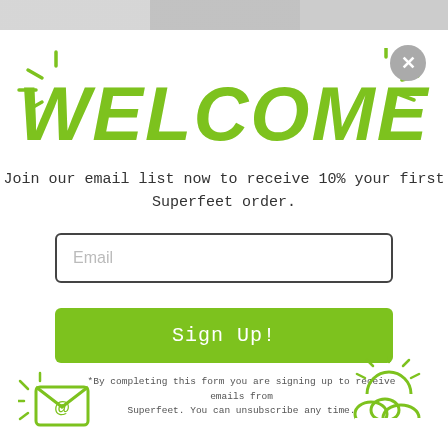[Figure (photo): Top strip showing partial image of people]
WELCOME
Join our email list now to receive 10% your first Superfeet order.
[Figure (other): Email input field with placeholder text 'Email']
[Figure (other): Green Sign Up! button]
*By completing this form you are signing up to receive emails from Superfeet. You can unsubscribe any time.
[Figure (illustration): Green envelope with @ symbol and sparkle lines - email icon]
[Figure (illustration): Green sun above clouds with sparkle lines - sunshine icon]